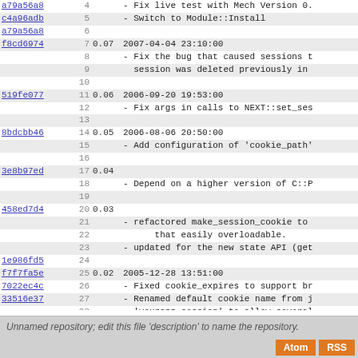| hash | line | ver | content |
| --- | --- | --- | --- |
| a79a56a8 | 4 |  | - Fix live test with Mech Version 0. |
| c4a96adb | 5 |  | - Switch to Module::Install |
| a79a56a8 | 6 |  |  |
| f8cd6974 | 7 | 0.07 | 2007-04-04 23:10:00 |
|  | 8 |  | - Fix the bug that caused sessions t |
|  | 9 |  |   session was deleted previously in |
|  | 10 |  |  |
| 519fe077 | 11 | 0.06 | 2006-09-20 19:53:00 |
|  | 12 |  | - Fix args in calls to NEXT::set_ses |
|  | 13 |  |  |
| 8bdcbb46 | 14 | 0.05 | 2006-08-06 20:50:00 |
|  | 15 |  | - Add configuration of 'cookie_path' |
|  | 16 |  |  |
| 3e8b97ed | 17 | 0.04 |  |
|  | 18 |  | - Depend on a higher version of C::P |
|  | 19 |  |  |
| 458ed7d4 | 20 | 0.03 |  |
|  | 21 |  | - refactored make_session_cookie to |
|  | 22 |  |       that easily overloadable. |
|  | 23 |  | - updated for the new state API (get |
| 1e986fd5 | 24 |  |  |
| f7f7fa5e | 25 | 0.02 | 2005-12-28 13:51:00 |
| 7022ec4c | 26 |  | - Fixed cookie_expires to support br |
| 33516e37 | 27 |  | - Renamed default cookie name from j |
|  | 28 |  |   'yourapp_session' to allow several |
|  | 29 |  |   to exist without conflict (LTJake) |
| 7022ec4c | 30 |  |  |
|  | 31 | 0.01 | 2005-11-14 12:45:00 |
|  | 32 |  | - Initial release. |
Unnamed repository; edit this file 'description' to name the repository.
Atom  RSS